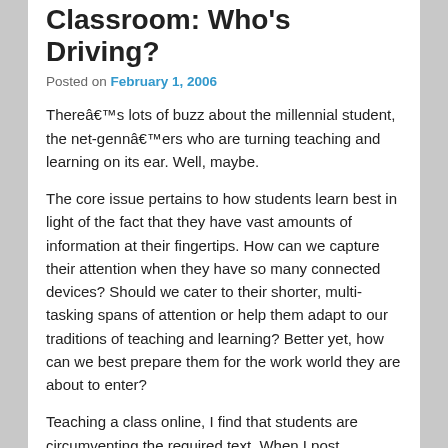Classroom: Who's Driving?
Posted on February 1, 2006
There's lots of buzz about the millennial student, the net-genn'ers who are turning teaching and learning on its ear. Well, maybe.
The core issue pertains to how students learn best in light of the fact that they have vast amounts of information at their fingertips. How can we capture their attention when they have so many connected devices? Should we cater to their shorter, multi-tasking spans of attention or help them adapt to our traditions of teaching and learning? Better yet, how can we best prepare them for the work world they are about to enter?
Teaching a class online, I find that students are circumventing the required text. When I post discussion questions designed to elicit concepts from the text, I get responses with reference to Wikipedia and a host of other